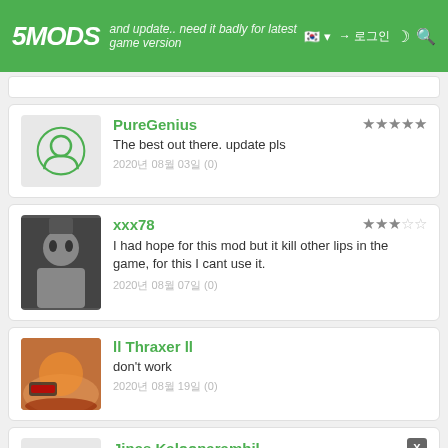5MODS — and update.. need it badly for latest game version
PureGenius — The best out there. update pls — 2020년 08월 03일 (0)
xxx78 — I had hope for this mod but it kill other lips in the game, for this I cant use it. — 2020년 08월 07일 (0)
ll Thraxer ll — don't work — 2020년 08월 19일 (0)
Jinas Kalooparambil — what is this cnativeui.dll file.....i already have one nativeu1 file